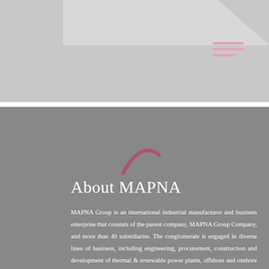[Figure (illustration): Top header section with light gray background, a darker inner rectangle, diagonal cut corner, and three pink/rose horizontal menu lines in the top right area]
About MAPNA
MAPNA Group is an international industrial manufacturer and business enterprise that consists of the parent company, MAPNA Group Company, and more than 40 subsidiaries. The conglomerate is engaged in diverse lines of business, including engineering, procurement, construction and development of thermal & renewable power plants, offshore and onshore oil & gas projects, electrification, and healthcare as a turnkey contractor and private investor in the Iranian and regional markets.